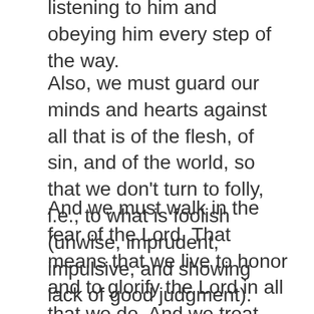listening to him and obeying him every step of the way.
Also, we must guard our minds and hearts against all that is of the flesh, of sin, and of the world, so that we don't turn to folly, i.e., to what is foolish (unwise, imprudent, impulsive, and showing lack of good judgment).
And we must walk in the fear of the Lord. That means that we live to honor and to glorify the Lord in all that we do. And we treat God with reverence, honor, and respect, meaning we bow to him in submission to his Lordship, we obey his commands, and we turn away from all that